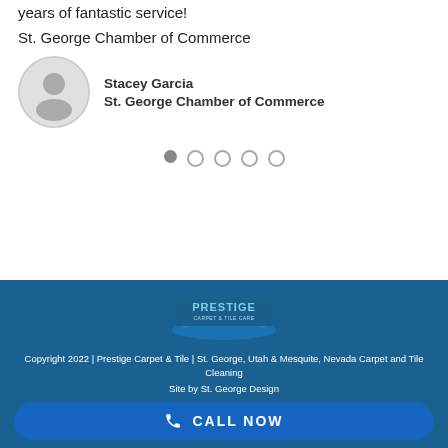years of fantastic service!
St. George Chamber of Commerce
Stacey Garcia
St. George Chamber of Commerce
[Figure (infographic): Five pagination dots, first filled gray, rest outlined]
[Figure (logo): Prestige Carpet & Tile Care logo in blue tones]
Copyright 2022 | Prestige Carpet & Tile | St. George, Utah & Mesquite, Nevada Carpet and Tile Cleaning
Site by St. George Design
CALL NOW